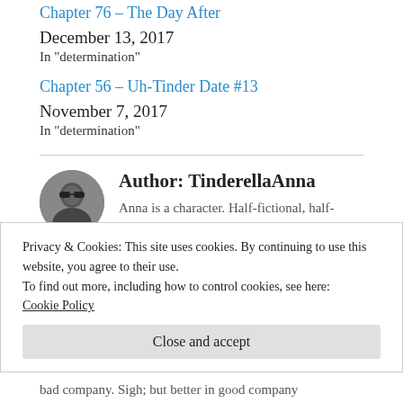Chapter 76 – The Day After
December 13, 2017
In "determination"
Chapter 56 – Uh-Tinder Date #13
November 7, 2017
In "determination"
[Figure (photo): Circular avatar photo of author TinderellaAnna, showing a person in black and white]
Author: TinderellaAnna
Anna is a character. Half-fictional, half-inspired in many, many true events. Half-
Privacy & Cookies: This site uses cookies. By continuing to use this website, you agree to their use.
To find out more, including how to control cookies, see here:
Cookie Policy
Close and accept
bad company. Sigh; but better in good company